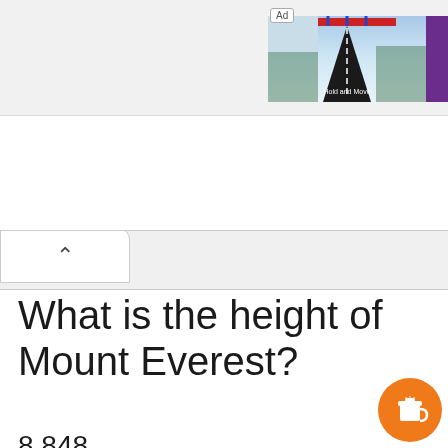[Figure (screenshot): Advertisement banner with game app (Hold and Move) featuring road graphic, Rollic purple logo, and 'They Are Com...' text]
[Figure (screenshot): Browser tab area with chevron/up-arrow tab visible at left]
What is the height of Mount Everest?
8,848
[Figure (illustration): Orange circular coffee cup button in bottom right corner]